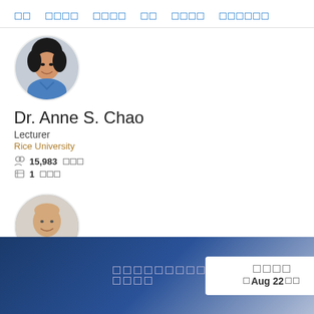□□  □□□□  □□□□  □□  □□□□  □□□□□□
[Figure (photo): Circular profile photo of Dr. Anne S. Chao, an Asian woman smiling, wearing a blue shirt]
Dr. Anne S. Chao
Lecturer
Rice University
15,983 □□□
1 □□□
[Figure (photo): Circular profile photo of a bald man smiling, wearing a patterned shirt]
□□□□□□□□□□ □□□□  □□□□  □ Aug 22 □□